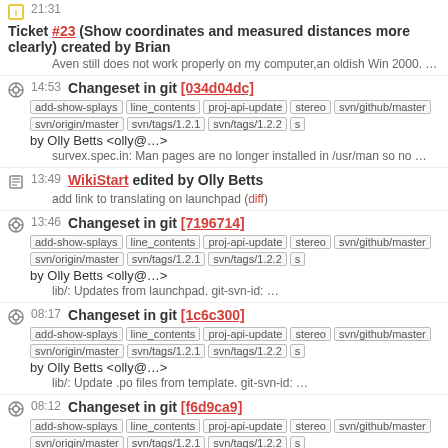21:31 Ticket #23 (Show coordinates and measured distances more clearly) created by Brian
Aven still does not work properly on my computer,an oldish Win 2000. …
14:53 Changeset in git [034d04dc] add-show-splays line_contents proj-api-update stereo svn/github/master svn/origin/master svn/tags/1.2.1 svn/tags/1.2.2 by Olly Betts <olly@…>
survex.spec.in: Man pages are no longer installed in /usr/man so no …
13:49 WikiStart edited by Olly Betts
add link to translating on launchpad (diff)
13:46 Changeset in git [7196714] add-show-splays line_contents proj-api-update stereo svn/github/master svn/origin/master svn/tags/1.2.1 svn/tags/1.2.2 by Olly Betts <olly@…>
lib/: Updates from launchpad. git-svn-id: …
08:17 Changeset in git [1c6c300] add-show-splays line_contents proj-api-update stereo svn/github/master svn/origin/master svn/tags/1.2.1 svn/tags/1.2.2 by Olly Betts <olly@…>
lib/: Update .po files from template. git-svn-id: …
08:12 Changeset in git [f6d9ca9] add-show-splays line_contents proj-api-update stereo svn/github/master svn/origin/master svn/tags/1.2.1 svn/tags/1.2.2 by Olly Betts <olly@…>
lib/codes.po: Improvements to "TRANSLATORS" comments. git-svn-id: …
03:47 Changeset in git [eeb7320] add-show-splays line_contents proj-…